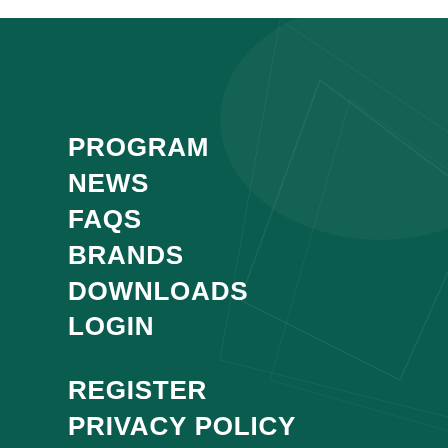PROGRAM
NEWS
FAQS
BRANDS
DOWNLOADS
LOGIN
REGISTER
PRIVACY POLICY
T&C
[Figure (logo): Rootz Affiliates logo in green with text 'Affiliates' below]
This website is operated by Rootz Limited, a company